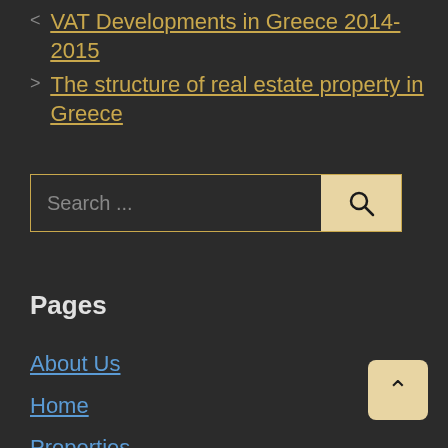< VAT Developments in Greece 2014-2015
> The structure of real estate property in Greece
Search ...
Pages
About Us
Home
Properties